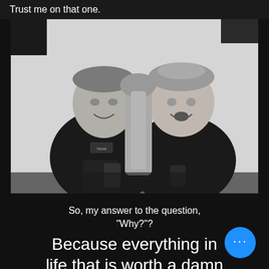Trust me on that one.
[Figure (photo): Black and white photo of two men in black shirts, smiling and talking to each other, each holding a dark cup/glass. They appear to be in an indoor setting with equipment in the background.]
So, my answer to the question, "Why?"?
Because everything in life that is worth a damn is better when you put your all into it.